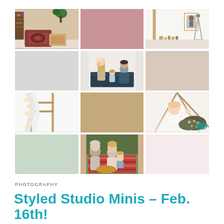[Figure (photo): 3x4 grid of photos and color swatches: boho studio props with cushions, dusty rose color swatch, bright studio with tripod and artwork, light gray color swatch, family portrait on couch (parents and children), nude beige color swatch, draped white fabric with lights, tan/khaki color swatch, baby in teepee tent with spotted cushion, sage green color swatch, family outdoor picnic portrait with grandparent, light pink color swatch]
PHOTOGRAPHY
Styled Studio Minis – Feb. 16th!